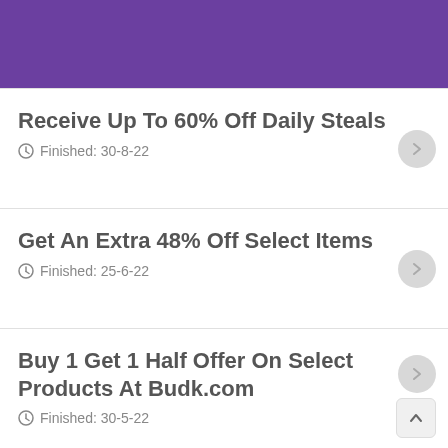[Figure (other): Purple header banner background]
Receive Up To 60% Off Daily Steals
Finished: 30-8-22
Get An Extra 48% Off Select Items
Finished: 25-6-22
Buy 1 Get 1 Half Offer On Select Products At Budk.com
Finished: 30-5-22